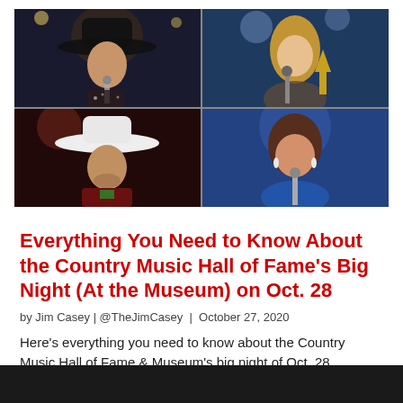[Figure (photo): A 2x2 grid of four country music artist photos: top-left shows a male singer in a cowboy hat performing with a microphone; top-right shows a blonde woman holding an award at a podium; bottom-left shows a male performer in a white cowboy hat; bottom-right shows a woman in a blue dress speaking at a microphone.]
Everything You Need to Know About the Country Music Hall of Fame's Big Night (At the Museum) on Oct. 28
by Jim Casey | @TheJimCasey  |  October 27, 2020
Here's everything you need to know about the Country Music Hall of Fame & Museum's big night of Oct. 28